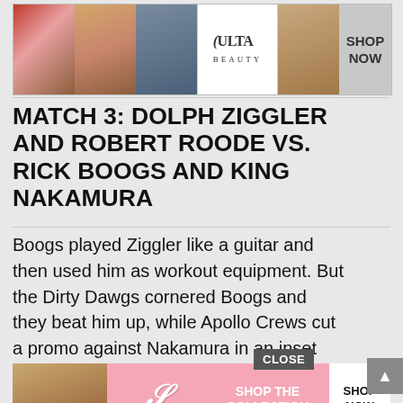[Figure (illustration): Ulta Beauty banner advertisement showing makeup images (lips with brush, eye, woman's face with dark eye makeup) and 'SHOP NOW' button]
MATCH 3: DOLPH ZIGGLER AND ROBERT ROODE VS. RICK BOOGS AND KING NAKAMURA
Boogs played Ziggler like a guitar and then used him as workout equipment. But the Dirty Dawgs cornered Boogs and they beat him up, while Apollo Crews cut a promo against Nakamura in an inset box. Boogs escaped and tagged in Nakamura, who took over. Roode avoided a Kinshasa, and after that, Ziggler su the
[Figure (illustration): Victoria's Secret pink banner advertisement with woman's face, VS logo, 'SHOP THE COLLECTION' and 'SHOP NOW' button. Has a 'CLOSE' button overlay.]